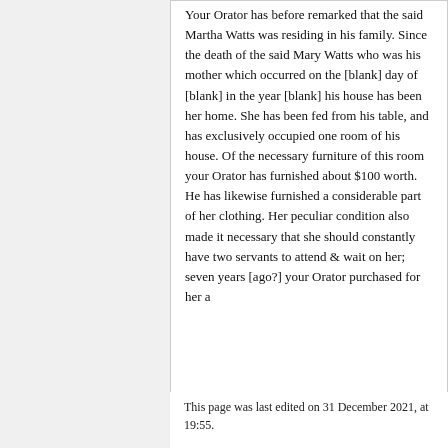Your Orator has before remarked that the said Martha Watts was residing in his family. Since the death of the said Mary Watts who was his mother which occurred on the [blank] day of [blank] in the year [blank] his house has been her home. She has been fed from his table, and has exclusively occupied one room of his house. Of the necessary furniture of this room your Orator has furnished about $100 worth. He has likewise furnished a considerable part of her clothing. Her peculiar condition also made it necessary that she should constantly have two servants to attend & wait on her; seven years [ago?] your Orator purchased for her a
This page was last edited on 31 December 2021, at 19:55.